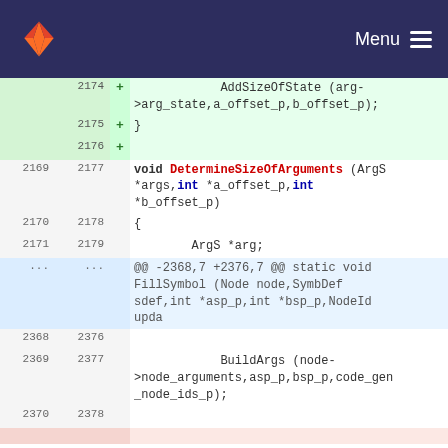GitLab — Menu
[Figure (screenshot): Code diff view showing C function definitions. Lines 2174-2176 are added (green background) showing AddSizeOfState call and closing brace. Lines 2169/2177 through 2170/2178 and 2171/2179 show void DetermineSizeOfArguments function declaration and opening brace. A hunk header at ... shows @@ -2368,7 +2376,7 @@ static void FillSymbol (Node node,SymbDef sdef,int *asp_p,int *bsp_p,NodeId upda. Lines 2368/2376, 2369/2377, and 2370/2378 show BuildArgs call.]